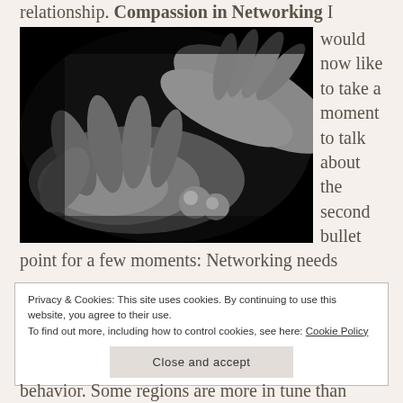relationship. Compassion in Networking I would now like to take a moment to talk about the second bullet point for a few moments: Networking needs
[Figure (photo): Black and white photograph of two hands, one open and one gently resting in the other, symbolizing compassion or connection.]
Privacy & Cookies: This site uses cookies. By continuing to use this website, you agree to their use.
To find out more, including how to control cookies, see here: Cookie Policy

Close and accept
behavior. Some regions are more in tune than